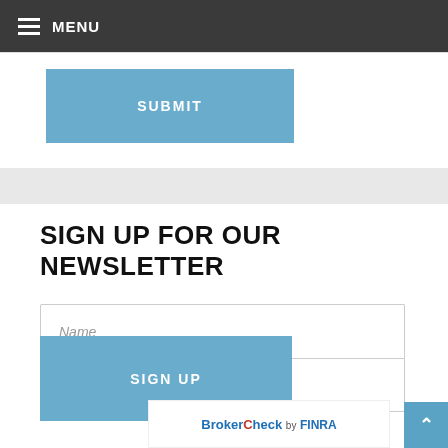MENU
SUBMIT
SIGN UP FOR OUR NEWSLETTER
Name
Email
SIGN UP
[Figure (logo): BrokerCheck by FINRA logo]